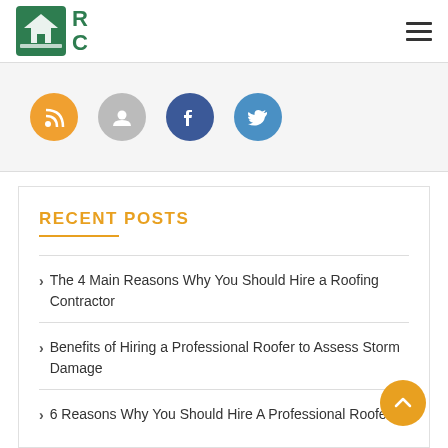[Figure (logo): RC Roofing company logo — green square with house icon, letters R C to the right]
[Figure (illustration): Hamburger menu icon (three horizontal lines) in top right]
[Figure (illustration): Row of four social media circle icons: orange RSS, grey email/profile, blue Facebook, blue Twitter]
RECENT POSTS
The 4 Main Reasons Why You Should Hire a Roofing Contractor
Benefits of Hiring a Professional Roofer to Assess Storm Damage
6 Reasons Why You Should Hire A Professional Roofer